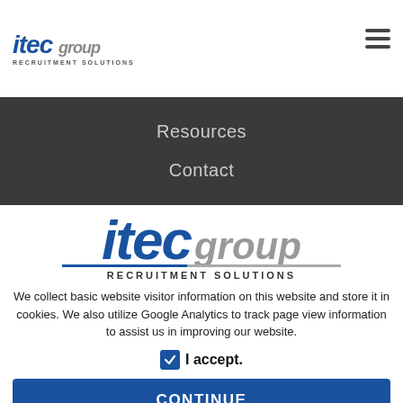[Figure (logo): itec group RECRUITMENT SOLUTIONS logo - small version in top navigation bar]
Resources
Contact
[Figure (logo): itec group RECRUITMENT SOLUTIONS logo - large centered version]
We collect basic website visitor information on this website and store it in cookies. We also utilize Google Analytics to track page view information to assist us in improving our website.
I accept.
CONTINUE